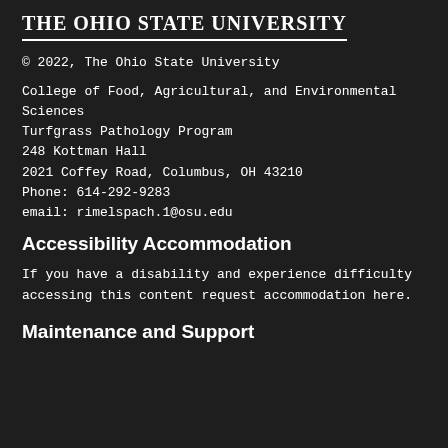The Ohio State University
© 2022, The Ohio State University
College of Food, Agricultural, and Environmental Sciences
Turfgrass Pathology Program
248 Kottman Hall
2021 Coffey Road, Columbus, OH 43210
Phone: 614-292-9283
email: rimelspach.1@osu.edu
Accessibility Accommodation
If you have a disability and experience difficulty accessing this content request accommodation here.
Maintenance and Support